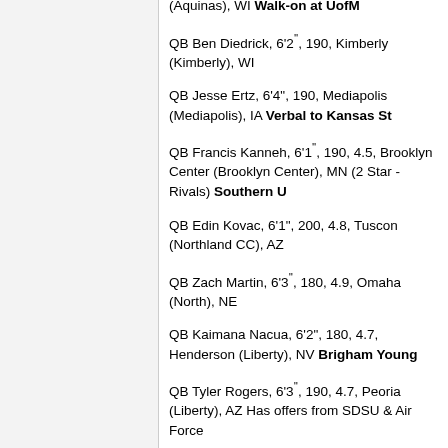(Aquinas), WI Walk-on at UofM
QB Ben Diedrick, 6'2", 190, Kimberly (Kimberly), WI
QB Jesse Ertz, 6'4", 190, Mediapolis (Mediapolis), IA Verbal to Kansas St
QB Francis Kanneh, 6'1", 190, 4.5, Brooklyn Center (Brooklyn Center), MN (2 Star - Rivals) Southern U
QB Edin Kovac, 6'1", 200, 4.8, Tuscon (Northland CC), AZ
QB Zach Martin, 6'3", 180, 4.9, Omaha (North), NE
QB Kaimana Nacua, 6'2", 180, 4.7, Henderson (Liberty), NV Brigham Young
QB Tyler Rogers, 6'3", 190, 4.7, Peoria (Liberty), AZ Has offers from SDSU & Air Force
QB Nick Schroeder, 6', 195, 4.9, Manitowoc (Lincoln), WI